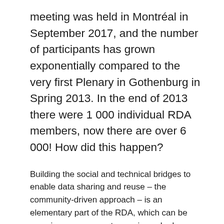meeting was held in Montréal in September 2017, and the number of participants has grown exponentially compared to the very first Plenary in Gothenburg in Spring 2013. In the end of 2013 there were 1 000 individual RDA members, now there are over 6 000! How did this happen?
Building the social and technical bridges to enable data sharing and reuse – the community-driven approach – is an elementary part of the RDA, which can be seen in a very concrete way in each plenary meeting. It is always amazing to see, how